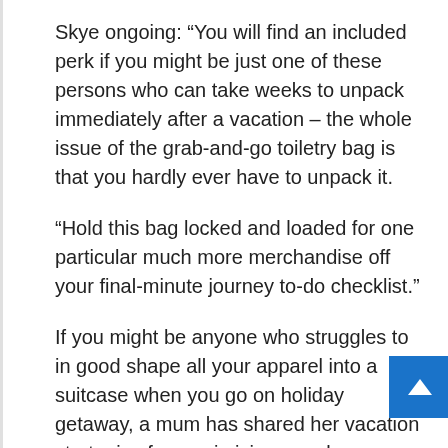Skye ongoing: “You will find an included perk if you might be just one of these persons who can take weeks to unpack immediately after a vacation – the whole issue of the grab-and-go toiletry bag is that you hardly ever have to unpack it.
“Hold this bag locked and loaded for one particular much more merchandise off your final-minute journey to-do checklist.”
If you might be anyone who struggles to in good shape all your apparel into a suitcase when you go on holiday getaway, a mum has shared her vacation strategies for maximising your baggage room.
Mum-of-two Karen Edwards uncovered how sh packs for a family members of 4 in a single suitcase – squeezing in up to 200 items